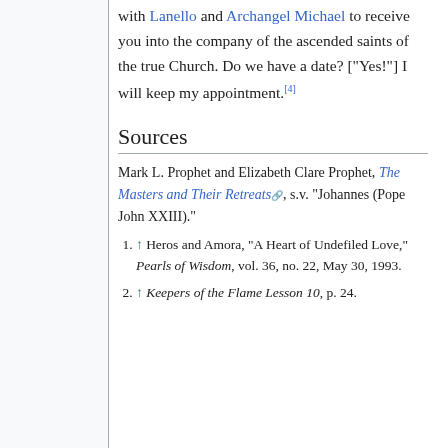with Lanello and Archangel Michael to receive you into the company of the ascended saints of the true Church. Do we have a date? ["Yes!"] I will keep my appointment.[4]
Sources
Mark L. Prophet and Elizabeth Clare Prophet, The Masters and Their Retreats, s.v. "Johannes (Pope John XXIII)."
1. ↑ Heros and Amora, "A Heart of Undefiled Love," Pearls of Wisdom, vol. 36, no. 22, May 30, 1993.
2. ↑ Keepers of the Flame Lesson 10, p. 24.